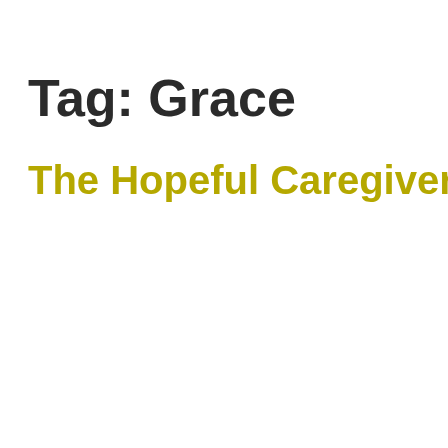Tag: Grace
The Hopeful Caregiver, Pt. 2